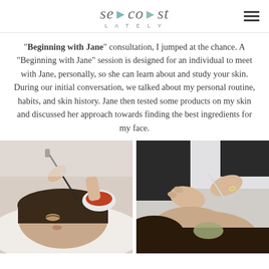Seacoast Lately
"Beginning with Jane" consultation, I jumped at the chance. A "Beginning with Jane" session is designed for an individual to meet with Jane, personally, so she can learn about and study your skin. During our initial conversation, we talked about my personal routine, habits, and skin history. Jane then tested some products on my skin and discussed her approach towards finding the best ingredients for my face.
[Figure (photo): Close-up photo of a woman lying down receiving a facial treatment, with hands holding a brush and a bowl of reddish clay mask]
[Figure (photo): Close-up photo of hands applying a treatment to a woman's face with a tool]